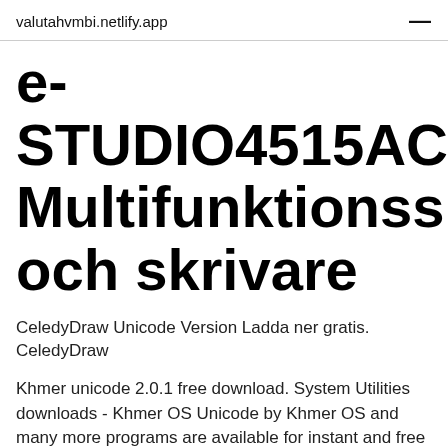valutahvmbi.netlify.app
e-STUDIO4515AC Multifunktionsskrivare och skrivare
CeledyDraw Unicode Version Ladda ner gratis. CeledyDraw
Khmer unicode 2.0.1 free download. System Utilities downloads - Khmer OS Unicode by Khmer OS and many more programs are available for instant and free download. 2021-04-22 2020-11-09